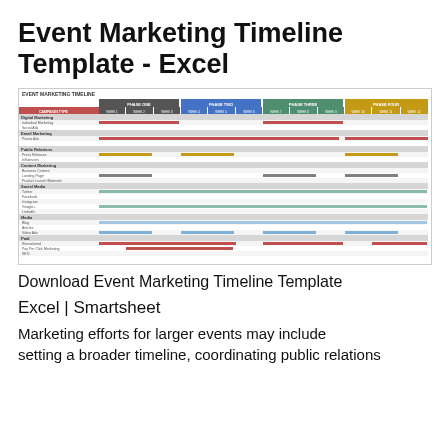Event Marketing Timeline Template - Excel
[Figure (infographic): Screenshot of an Event Marketing Timeline Excel template showing a Gantt-chart style layout with campaign types in rows and weeks across phases (Phase One, Phase Two, Phase Three, Phase Four) in columns. Rows include categories: Digital Marketing, Email Marketing, Public Relations, Content Marketing, Social Media, Media, Paid/Retargeting, Market Research, Sales Campaigns, Other. Colored bars indicate scheduled activities across weeks.]
Download Event Marketing Timeline Template
Excel | Smartsheet
Marketing efforts for larger events may include setting a broader timeline, coordinating public relations